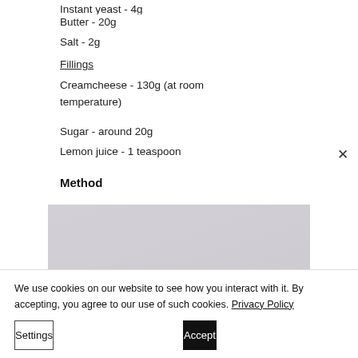Instant yeast - 4g
Butter - 20g
Salt - 2g
Fillings
Creamcheese - 130g (at room temperature)
Sugar - around 20g
Lemon juice - 1 teaspoon
Method
[Figure (photo): A photo showing a cooking surface with a dark purple/maroon colored food item visible at the bottom center of the image]
We use cookies on our website to see how you interact with it. By accepting, you agree to our use of such cookies. Privacy Policy
Settings
Accept